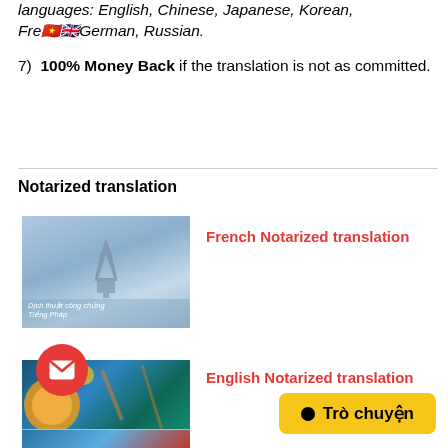languages: English, Chinese, Japanese, Korean, French, German, Russian.
7) 100% Money Back if the translation is not as committed.
Notarized translation
[Figure (photo): Photo of Paris with Eiffel Tower in background, cityscape with river, text overlay: Dịch thuật công chứng Tiếng Pháp]
French Notarized translation
[Figure (photo): Dark teal/blue themed graphic with decorative elements, coin-like design, email envelope icon circle overlay]
English Notarized translation
[Figure (other): Yellow chat button with black dot and text: Trò chuyện]
[Figure (other): Partial image at bottom of page, partially cut off]